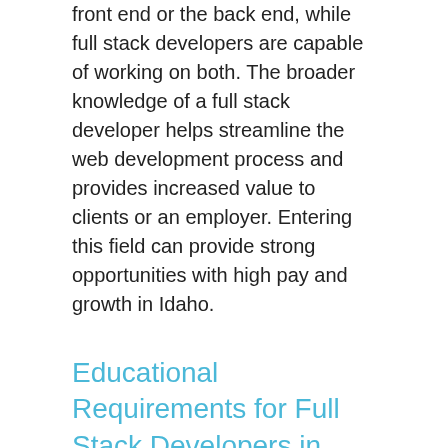front end or the back end, while full stack developers are capable of working on both. The broader knowledge of a full stack developer helps streamline the web development process and provides increased value to clients or an employer. Entering this field can provide strong opportunities with high pay and growth in Idaho.
Educational Requirements for Full Stack Developers in Idaho
You won't face education or licensing hurdles to begin working as a full stack developer in Idaho. Not everyone in this position gets there in the same way or has the same knowledge. The key is to have an understanding of one or more front-end coding languages and one or more back-end languages. Full stack developers can vary in the